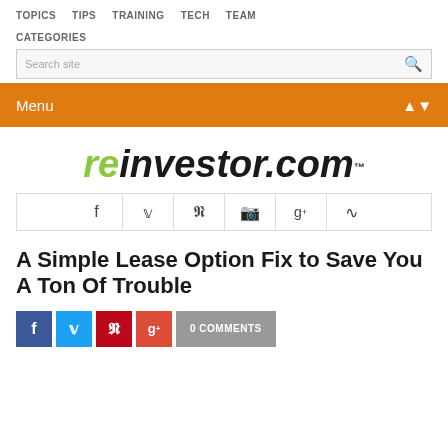TOPICS  TIPS  TRAINING  TECH  TEAM
CATEGORIES
Search site
Menu
[Figure (logo): reinvestor.com logo with 're' in green italic and 'investor.com' in black italic with TM mark]
[Figure (infographic): Social media icons row: Facebook, Twitter, Pinterest, Instagram, Google+, RSS]
A Simple Lease Option Fix to Save You A Ton Of Trouble
[Figure (infographic): Social share buttons: Facebook (blue), Twitter (light blue), Pinterest (red), Google+ (red), and 0 COMMENTS (gray)]